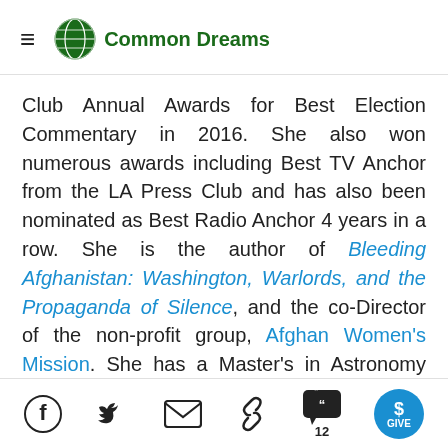Common Dreams
Club Annual Awards for Best Election Commentary in 2016. She also won numerous awards including Best TV Anchor from the LA Press Club and has also been nominated as Best Radio Anchor 4 years in a row. She is the author of Bleeding Afghanistan: Washington, Warlords, and the Propaganda of Silence, and the co-Director of the non-profit group, Afghan Women's Mission. She has a Master's in Astronomy from the University of Hawaii, and two undergraduate degrees in Physics and
Facebook Twitter Email Link Comments 12 GIVE